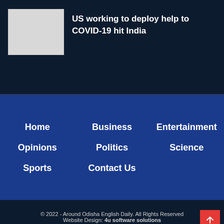[Figure (photo): Thumbnail placeholder image (gray rectangle)]
US working to deploy help to COVID-19 hit India
Home
Business
Entertainment
Opinions
Politics
Science
Sports
Contact Us
© 2022 - Around Odisha English Daily. All Rights Reserved Website Design: 4u software solutions